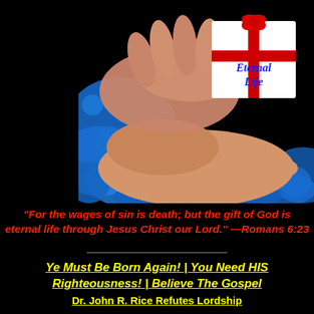[Figure (photo): Hands holding a white gift box with red ribbon labeled 'Eternal Life' in blue italic text, against a black and blue splattered background]
“For the wages of sin is death; but the gift of God is eternal life through Jesus Christ our Lord.” —Romans 6:23
Ye Must Be Born Again! | You Need HIS Righteousness! | Believe The Gospel
Dr. John R. Rice Refutes Lordship